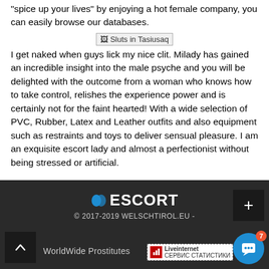"spice up your lives" by enjoying a hot female company, you can easily browse our databases.
[Figure (photo): Broken image placeholder labeled 'Sluts in Tasiusaq']
I get naked when guys lick my nice clit. Milady has gained an incredible insight into the male psyche and you will be delighted with the outcome from a woman who knows how to take control, relishes the experience power and is certainly not for the faint hearted! With a wide selection of PVC, Rubber, Latex and Leather outfits and also equipment such as restraints and toys to deliver sensual pleasure. I am an exquisite escort lady and almost a perfectionist without being stressed or artificial.
© 2017-2019 WELSCHTIROL.EU - WorldWide Prostitutes